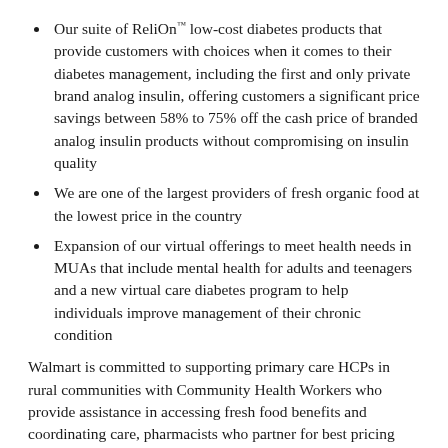Our suite of ReliOn™ low-cost diabetes products that provide customers with choices when it comes to their diabetes management, including the first and only private brand analog insulin, offering customers a significant price savings between 58% to 75% off the cash price of branded analog insulin products without compromising on insulin quality
We are one of the largest providers of fresh organic food at the lowest price in the country
Expansion of our virtual offerings to meet health needs in MUAs that include mental health for adults and teenagers and a new virtual care diabetes program to help individuals improve management of their chronic condition
Walmart is committed to supporting primary care HCPs in rural communities with Community Health Workers who provide assistance in accessing fresh food benefits and coordinating care, pharmacists who partner for best pricing and ease of filling prescriptions and supplementing care where there are not enough HCPs with our own Walmart Health clinics with integrated